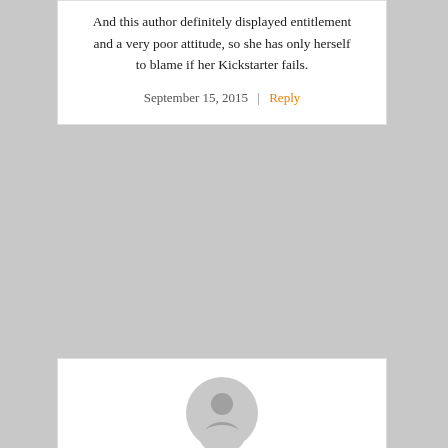And this author definitely displayed entitlement and a very poor attitude, so she has only herself to blame if her Kickstarter fails.
September 15, 2015 | Reply
[Figure (illustration): Generic user avatar icon — grey circle with person silhouette]
Mandi
The issue is that she DIDN'T ask for voluntary donations to complete a project. She wants people to pay her MORE than the asking price on Amazon for things she has already published, and her “prizes” are things from her backlist, at a huge markup from what they’d be if you bought at Amazon.
Things like Patreon exist for authors and artists